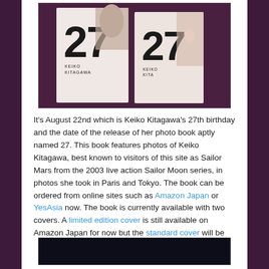[Figure (photo): Two copies of a photo book titled '27' by Keiko Kitagawa, showing the covers side by side on a dark purple background. The covers feature white/light tones with the number 27 and the name KEIKO KITAGAWA.]
It's August 22nd which is Keiko Kitagawa's 27th birthday and the date of the release of her photo book aptly named 27. This book features photos of Keiko Kitagawa, best known to visitors of this site as Sailor Mars from the 2003 live action Sailor Moon series, in photos she took in Paris and Tokyo. The book can be ordered from online sites such as Amazon Japan or YesAsia now. The book is currently available with two covers. A limited edition cover is still available on Amazon Japan for now but the standard cover will be the only one available once the initial stock runs out.
[Figure (photo): Bottom portion of another photo showing a dark scene, beginning to be visible at the bottom of the page.]